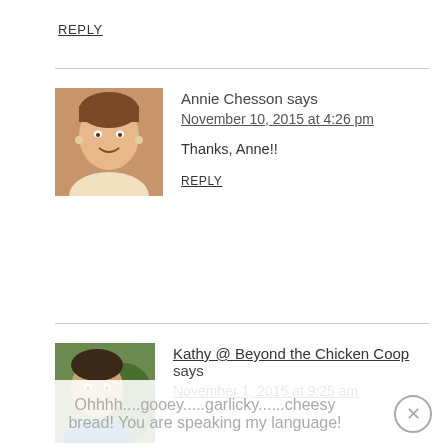REPLY
Annie Chesson says
November 10, 2015 at 4:26 pm
Thanks, Anne!!
REPLY
Kathy @ Beyond the Chicken Coop says
November 1, 2015 at 9:25 am
Ohhhh....gooey.....garlicky......cheesy bread! You are speaking my language!